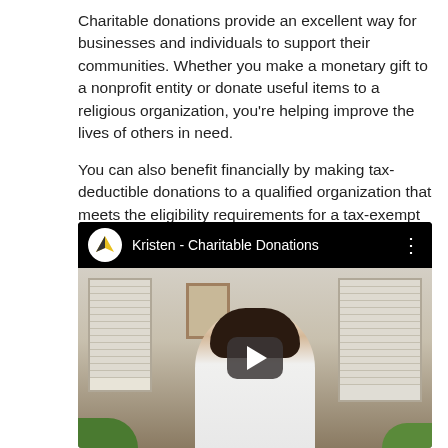Charitable donations provide an excellent way for businesses and individuals to support their communities. Whether you make a monetary gift to a nonprofit entity or donate useful items to a religious organization, you're helping improve the lives of others in need.
You can also benefit financially by making tax-deductible donations to a qualified organization that meets the eligibility requirements for a tax-exempt entity.
[Figure (screenshot): YouTube-style video thumbnail showing a woman seated in a home office setting with windows and blinds in the background. The video title reads 'Kristen - Charitable Donations' with a channel logo (shield/helmet icon) and a play button overlay.]